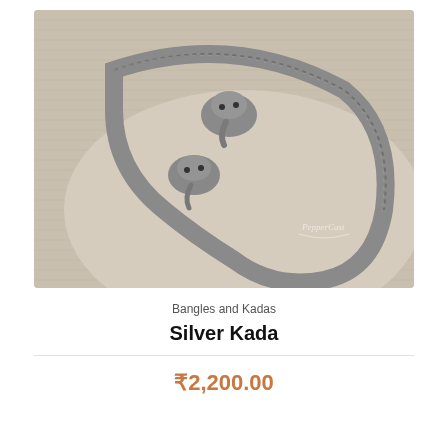[Figure (photo): A silver kada (bangle) with decorative elephant head motifs at the opening, displayed on a fabric-covered cylindrical form. The bracelet has a ridged/ribbed body with intricate silver metalwork. Watermark reads 'PepperCast' in the lower right corner.]
Bangles and Kadas
Silver Kada
₹2,200.00